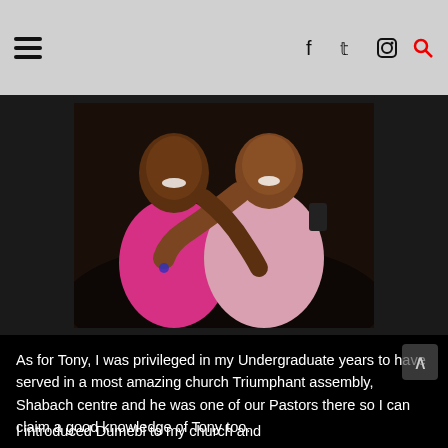Navigation header with hamburger menu and social icons (facebook, twitter, instagram, search)
[Figure (photo): Two women smiling and hugging each other. The woman on the left is wearing a bright pink top, and the woman on the right is wearing a light pink outfit. Both appear to be of African descent and are smiling warmly at the camera.]
As for Tony, I was privileged in my Undergraduate years to have served in a most amazing church Triumphant assembly, Shabach centre and he was one of our Pastors there so I can claim a good knowledge of Tony too.
I introduced Dumebi to my church and